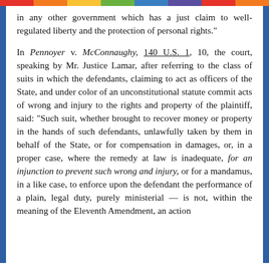in any other government which has a just claim to well-regulated liberty and the protection of personal rights."
In Pennoyer v. McConnaughy, 140 U.S. 1, 10, the court, speaking by Mr. Justice Lamar, after referring to the class of suits in which the defendants, claiming to act as officers of the State, and under color of an unconstitutional statute commit acts of wrong and injury to the rights and property of the plaintiff, said: "Such suit, whether brought to recover money or property in the hands of such defendants, unlawfully taken by them in behalf of the State, or for compensation in damages, or, in a proper case, where the remedy at law is inadequate, for an injunction to prevent such wrong and injury, or for a mandamus, in a like case, to enforce upon the defendant the performance of a plain, legal duty, purely ministerial — is not, within the meaning of the Eleventh Amendment, an action